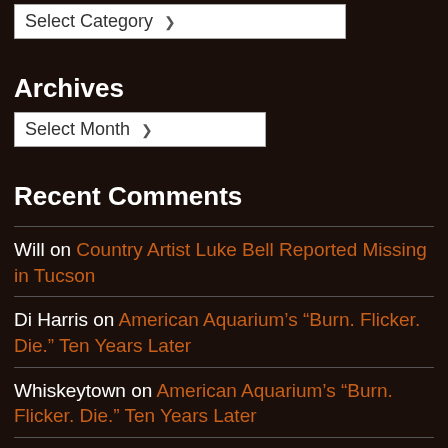Archives
Select Month
Recent Comments
Will on Country Artist Luke Bell Reported Missing in Tucson
Di Harris on American Aquarium's “Burn. Flicker. Die.” Ten Years Later
Whiskeytown on American Aquarium's “Burn. Flicker. Die.” Ten Years Later
Phil on 50 Years Ago Today: Townes Van Zandt’s “Pancho & Lefty” Is Born